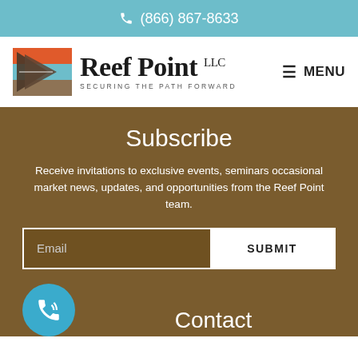(866) 867-8633
[Figure (logo): Reef Point LLC logo with geometric sail/wave graphic in orange, blue, and brown. Tagline: SECURING THE PATH FORWARD]
Subscribe
Receive invitations to exclusive events, seminars occasional market news, updates, and opportunities from the Reef Point team.
Email  SUBMIT
Contact